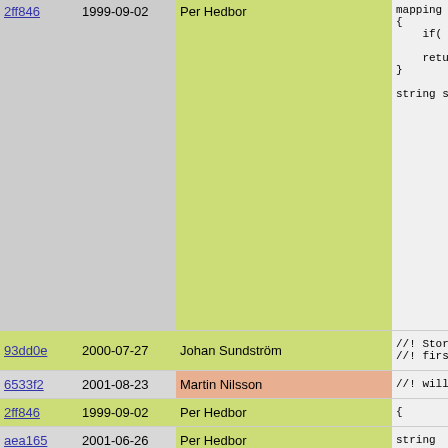| hash | date | author | bar | code |
| --- | --- | --- | --- | --- |
| 2ff846 | 1999-09-02 | Per Hedbor |  | mapping
{
    if( ma
        retu
    return
}

string s |
| 93dd0e | 2000-07-27 | Johan Sundström |  | //! Stor
//! firs |
| 6533f2 | 2001-08-23 | Martin Nilsson |  | //! will |
| 2ff846 | 1999-09-02 | Per Hedbor |  | { |
| aea165 | 2001-06-26 | Per Hedbor |  | string |
| 83f54a | 2003-01-16 | Martin Stjernholm |  | functi |
| aea165 | 2001-06-26 | Per Hedbor |  | {
    if ( |
| f04b92 | 2000-09-13 | Jonas Wallden |  | //
#if consta |
| aea165 | 2001-06-26 | Per Hedbor |  | a->f |
| f04b92 | 2000-09-13 | Jonas Wallden |  | #else |
| aea165 | 2001-06-26 | Per Hedbor |  | a->f |
| f04b92 | 2000-09-13 | Jonas Wallden |  | #andif |